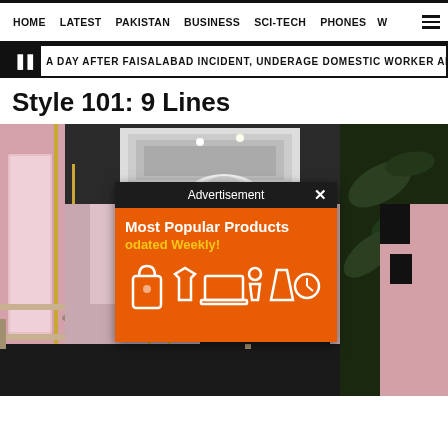HOME  LATEST  PAKISTAN  BUSINESS  SCI-TECH  PHONES  W
A DAY AFTER FAISALABAD INCIDENT, UNDERAGE DOMESTIC WORKER ABUSED BY HER
Style 101: 9 Lines
[Figure (photo): Interior of a fashion boutique store with pink walls, clothing displays, shelves with shoes, hanging gold rails, tropical leaf wallpaper on right side, dark ceiling with lighting, and a white sculptural ceiling piece. An advertisement overlay popup is visible on top showing 'Most Popular Products Updated Weekly!' on an orange background with white product icons.]